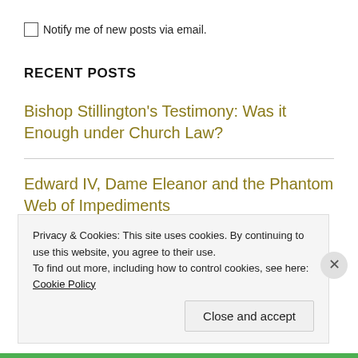Notify me of new posts via email.
RECENT POSTS
Bishop Stillington's Testimony: Was it Enough under Church Law?
Edward IV, Dame Eleanor and the Phantom Web of Impediments
Privacy & Cookies: This site uses cookies. By continuing to use this website, you agree to their use. To find out more, including how to control cookies, see here: Cookie Policy
Close and accept